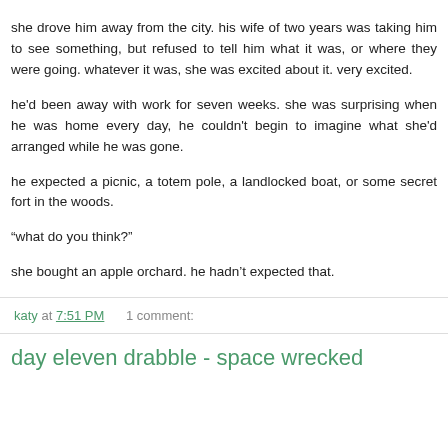she drove him away from the city. his wife of two years was taking him to see something, but refused to tell him what it was, or where they were going. whatever it was, she was excited about it. very excited.
he'd been away with work for seven weeks. she was surprising when he was home every day, he couldn't begin to imagine what she'd arranged while he was gone.
he expected a picnic, a totem pole, a landlocked boat, or some secret fort in the woods.
“what do you think?”
she bought an apple orchard. he hadn’t expected that.
katy at 7:51 PM    1 comment:
day eleven drabble - space wrecked